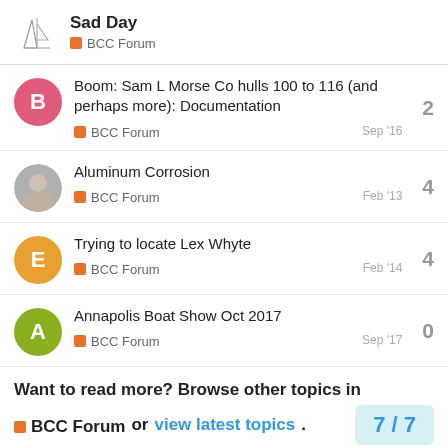Sad Day | BCC Forum
Boom: Sam L Morse Co hulls 100 to 116 (and perhaps more): Documentation — BCC Forum — Sep '16 — 2 replies
Aluminum Corrosion — BCC Forum — Feb '13 — 4 replies
Trying to locate Lex Whyte — BCC Forum — Feb '14 — 4 replies
Annapolis Boat Show Oct 2017 — BCC Forum — Sep '17 — 0 replies
Want to read more? Browse other topics in BCC Forum or view latest topics. 7 / 7